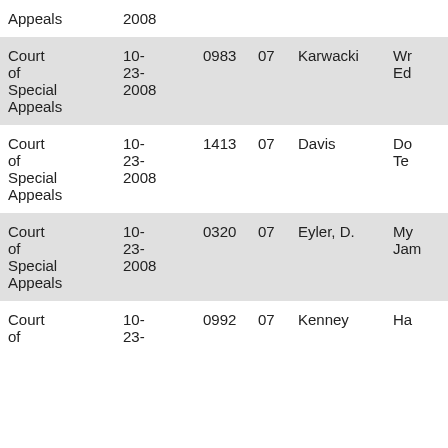| Appeals | 2008 |  |  |  |  |
| Court of Special Appeals | 10-23-2008 | 0983 | 07 | Karwacki | Wr Ed |
| Court of Special Appeals | 10-23-2008 | 1413 | 07 | Davis | Do Te |
| Court of Special Appeals | 10-23-2008 | 0320 | 07 | Eyler, D. | My Jam |
| Court of | 10-23- | 0992 | 07 | Kenney | Ha |